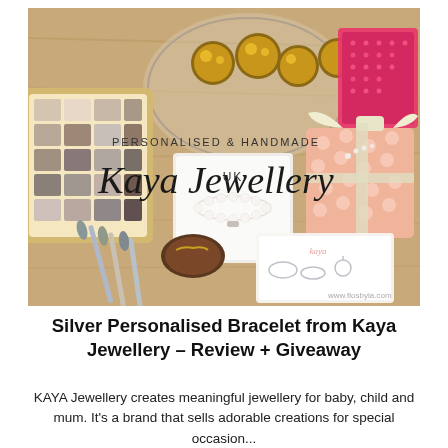[Figure (photo): Flat lay photo showing Kaya Jewellery branding with chocolate Ferrero Rocher on a glass plate, an eyeshadow palette, makeup brushes, a pearl bracelet in a white gift box, a peach polka-dot gift box with ribbon, a jewellery catalogue card, and a pink sequin clutch. Text overlay reads 'PERSONALISED & HANDMADE' and 'Kaya Jewellery UK' in cursive script.]
Silver Personalised Bracelet from Kaya Jewellery – Review + Giveaway
KAYA Jewellery creates meaningful jewellery for baby, child and mum. It's a brand that sells adorable creations for special occasion...